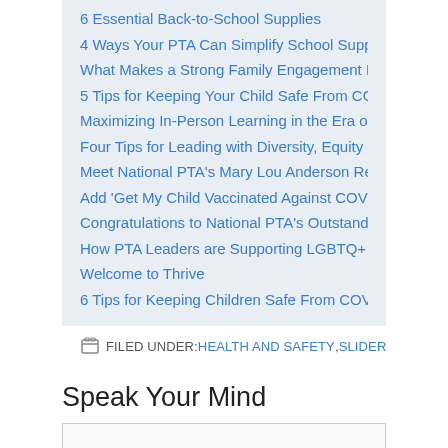6 Essential Back-to-School Supplies
4 Ways Your PTA Can Simplify School Supplies
What Makes a Strong Family Engagement Policy?
5 Tips for Keeping Your Child Safe From COVID at School
Maximizing In-Person Learning in the Era of COVID
Four Tips for Leading with Diversity, Equity and Inclusion in Mind
Meet National PTA's Mary Lou Anderson Reflections Arts Enhancement
Add 'Get My Child Vaccinated Against COVID' to Your Summer Plans
Congratulations to National PTA's Outstanding Interpretation Awardees!
How PTA Leaders are Supporting LGBTQ+ Youth
Welcome to Thrive
6 Tips for Keeping Children Safe From COVID This Summer
FILED UNDER: HEALTH AND SAFETY, SLIDER  TAGGED WITH: FLU, LY
Speak Your Mind